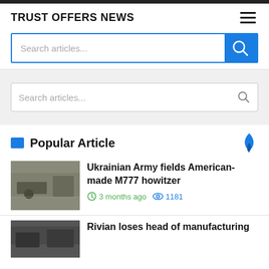TRUST OFFERS NEWS
Search articles...
Search articles...
Popular Article
Ukrainian Army fields American-made M777 howitzer
3 months ago   1181
Rivian loses head of manufacturing